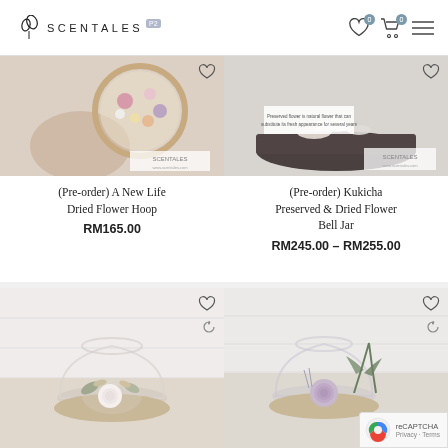SCENTALES
[Figure (photo): Hand holding a circular dried flower hoop with colorful dried flowers]
(Pre-order) A New Life Dried Flower Hoop
RM165.00
[Figure (photo): Dark wooden base with dried flowers and a Scentales branded card on white background]
(Pre-order) Kukicha Preserved & Dried Flower Bell Jar
RM245.00 – RM255.00
[Figure (photo): Glass bell jar with white rose and mixed dried flowers arrangement on wooden base]
[Figure (photo): Glass bell jar with lavender rose and greenery arrangement on wooden base]